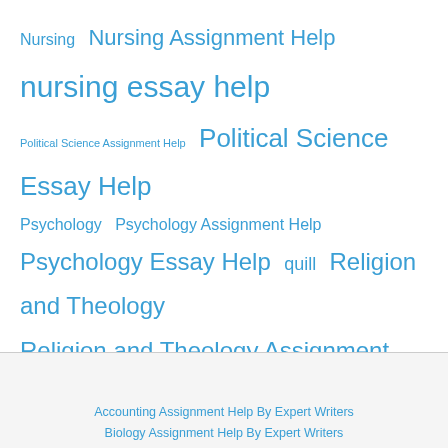Nursing   Nursing Assignment Help   nursing essay help
Political Science Assignment Help   Political Science Essay Help
Psychology   Psychology Assignment Help
Psychology Essay Help   quill   Religion and Theology
Religion and Theology Assignment Help
Religion and Theology Essay Help   Sociology Essay Help
Statistics Essay Help   summary and response essay helpa   write my essay help
Writing   writing an essay help
writing essay help   "essay help" site:edu
Accounting Assignment Help By Expert Writers
Biology Assignment Help By Expert Writers